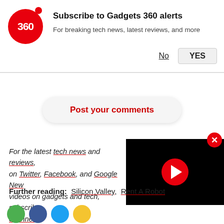[Figure (logo): Gadgets 360 red circle logo with '360' text]
Subscribe to Gadgets 360 alerts
For breaking tech news, latest reviews, and more
No   YES
Post your comments
[Figure (screenshot): Video player thumbnail with red play button on black background]
For the latest tech news and reviews, on Twitter, Facebook, and Google News, videos on gadgets and tech, subscribe channel.
Further reading:  Silicon Valley,  Rent A Robot